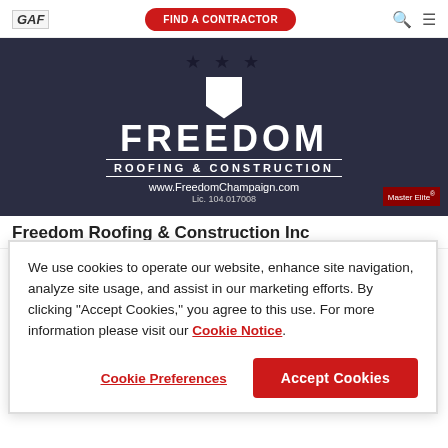GAF | FIND A CONTRACTOR
[Figure (logo): Freedom Roofing & Construction Inc banner with stars, shield, FREEDOM text, ROOFING & CONSTRUCTION, www.FreedomChampaign.com, Lic. 104.017008, and Master Elite badge]
Freedom Roofing & Construction Inc
We use cookies to operate our website, enhance site navigation, analyze site usage, and assist in our marketing efforts. By clicking "Accept Cookies," you agree to this use. For more information please visit our Cookie Notice.
Cookie Preferences | Accept Cookies